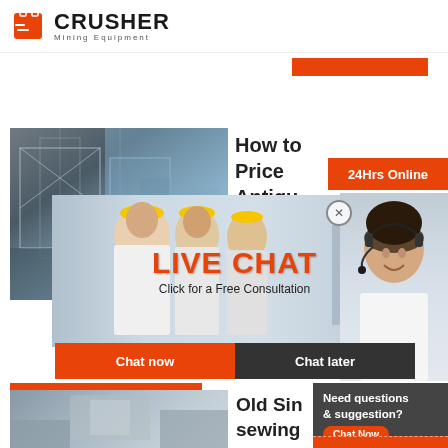[Figure (logo): Crusher Mining Equipment logo with red shopping bag icon and bold CRUSHER text]
[Figure (photo): Industrial crushing/mining equipment facility exterior]
How to Price
Antiqu
[Figure (infographic): Live Chat overlay with workers in hard hats, LIVE CHAT title in red, Click for a Free Consultation subtitle, Chat now and Chat later buttons, 24Hrs Online badge, headset customer service representative on right, Need questions & suggestion panel with Chat Now pill, Enquiry section, limingjlmofen@sina.com contact]
Read More
[Figure (photo): Old Singer sewing machine exterior building photo]
Old Sin...
sewing